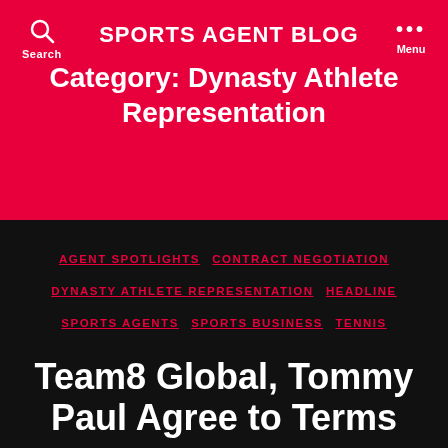SPORTS AGENT BLOG
Category: Dynasty Athlete Representation
AGENT SPOTLIGHTS
CONTRACT NEGOTIATION
DYNASTY ATHLETE REPRESENTATION
HEADLINE
SPORTS AGENTS
SPORTS BUSINESS
TENNIS
Team8 Global, Tommy Paul Agree to Terms
By Colt Sells  September 17, 2015